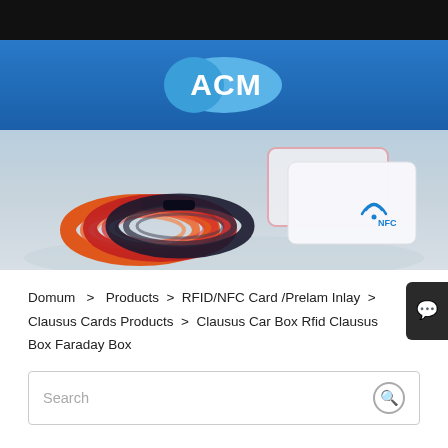[Figure (logo): ACM company logo: white text 'ACM' inside a blue oval/ellipse shape on a blue gradient header background]
[Figure (photo): Hero banner showing RFID wristbands (orange, red, black) on the left and NFC cards on the right, on a light gray gradient background]
Domum  >  Products  >  RFID/NFC Card /Prelam Inlay  >  Clausus Cards Products  >  Clausus Car Box Rfid Clausus Box Faraday Box
Search